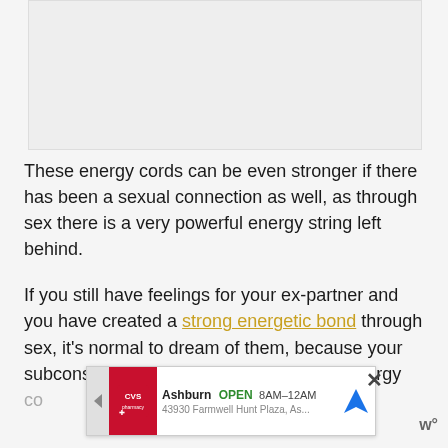[Figure (other): Image placeholder at top of page (partially visible article image, grayed out)]
These energy cords can be even stronger if there has been a sexual connection as well, as through sex there is a very powerful energy string left behind.
If you still have feelings for your ex-partner and you have created a strong energetic bond through sex, it's normal to dream of them, because your subconscious mind is picking up on that energy co... m out yo...
[Figure (infographic): Advertisement banner for CVS Pharmacy in Ashburn, showing OPEN 8AM-12AM, 43930 Farmwell Hunt Plaza, As..., with navigation icon and close (X) button]